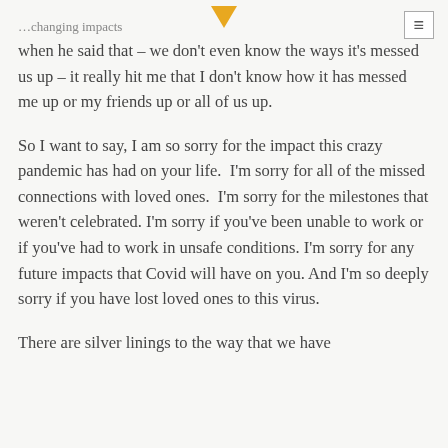...changing impacts
when he said that – we don't even know the ways it's messed us up – it really hit me that I don't know how it has messed me up or my friends up or all of us up.
So I want to say, I am so sorry for the impact this crazy pandemic has had on your life.  I'm sorry for all of the missed connections with loved ones.  I'm sorry for the milestones that weren't celebrated. I'm sorry if you've been unable to work or if you've had to work in unsafe conditions. I'm sorry for any future impacts that Covid will have on you. And I'm so deeply sorry if you have lost loved ones to this virus.
There are silver linings to the way that we have